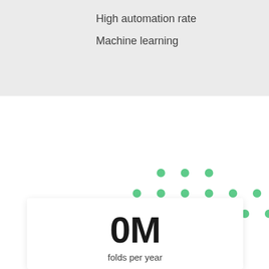High automation rate
Machine learning
[Figure (infographic): A decorative dot pattern made of green circles arranged in a triangular/staircase grid pattern, 3 rows with increasing number of dots per row from top to bottom.]
0M
folds per year